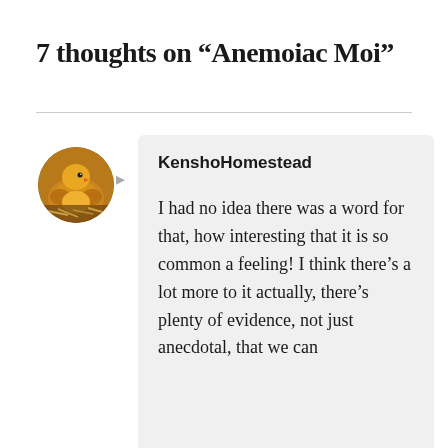7 thoughts on “Anemoiac Moi”
KenshoHomestead
I had no idea there was a word for that, how interesting that it is so common a feeling! I think there’s a lot more to it actually, there’s plenty of evidence, not just anecdotal, that we can